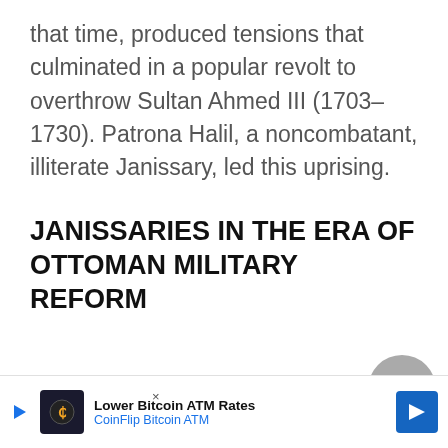that time, produced tensions that culminated in a popular revolt to overthrow Sultan Ahmed III (1703–1730). Patrona Halil, a noncombatant, illiterate Janissary, led this uprising.
JANISSARIES IN THE ERA OF OTTOMAN MILITARY REFORM
Count Alexandre de Bonneval was assigned in the 1730s to modernize the [obscured] imr[obscured]
[Figure (other): Scroll-to-top button overlay (gray circular chevron icon) and close button (×)]
[Figure (other): Advertisement banner: Lower Bitcoin ATM Rates – CoinFlip Bitcoin ATM, with logo and blue arrow icon]